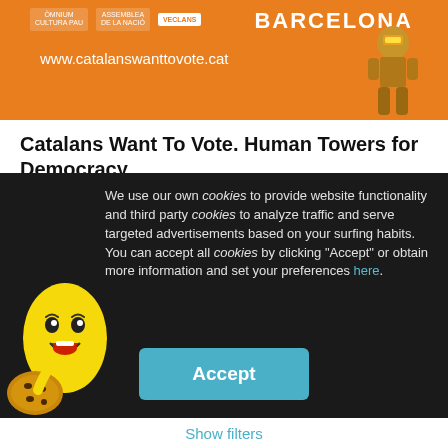[Figure (screenshot): Orange banner with text 'www.catalanswanttovote.cat', 'BARCELONA', logos at top left, and a robotic/armored figure on the right side]
Catalans Want To Vote. Human Towers for Democracy
Let us all tell Europe together that the Catalans want to vote. We are taking 10 Catalan Human Towers to 7 European capitals to claim the right to vote. The human towers will be raised simultaneously on 8th June at 12h with banners showing a democratic message loud and clear: #CatalansWantToVote
We use our own cookies to provide website functionality and third party cookies to analyze traffic and serve targeted advertisements based on your surfing habits. You can accept all cookies by clicking "Accept" or obtain more information and set your preferences here.
Show filters